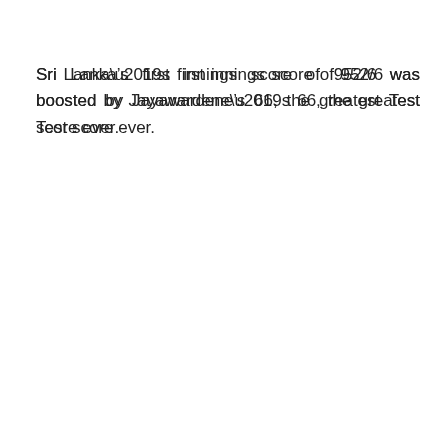Sri Lanka’s first innings score of 952/6 was boosted by Jayawardene’s 66, the greatest Test score ever.
When the previous highest Test score was surpassed, he was at the crease. He scored 167 against New Zealand and 242 against India early in his career.
Primary source of Mahela Jayawardene Net worth (Cricket)
In January 1998, Jayawardene made his One Day